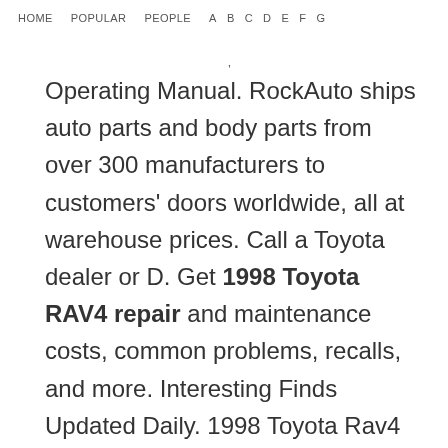HOME   POPULAR   PEOPLE   A   B   C   D   E   F   G
Operating Manual. RockAuto ships auto parts and body parts from over 300 manufacturers to customers' doors worldwide, all at warehouse prices. Call a Toyota dealer or D. Get 1998 Toyota RAV4 repair and maintenance costs, common problems, recalls, and more. Interesting Finds Updated Daily. 1998 Toyota Rav4 Rav 4 RAV4 Service Shop Repair Manual SET W Supplement + EWD 1998. View and